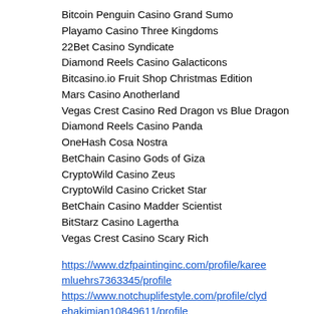Bitcoin Penguin Casino Grand Sumo
Playamo Casino Three Kingdoms
22Bet Casino Syndicate
Diamond Reels Casino Galacticons
Bitcasino.io Fruit Shop Christmas Edition
Mars Casino Anotherland
Vegas Crest Casino Red Dragon vs Blue Dragon
Diamond Reels Casino Panda
OneHash Cosa Nostra
BetChain Casino Gods of Giza
CryptoWild Casino Zeus
CryptoWild Casino Cricket Star
BetChain Casino Madder Scientist
BitStarz Casino Lagertha
Vegas Crest Casino Scary Rich
https://www.dzfpaintinginc.com/profile/kareemluehrs7363345/profile
https://www.notchuplifestyle.com/profile/clydehakimian10849611/profile